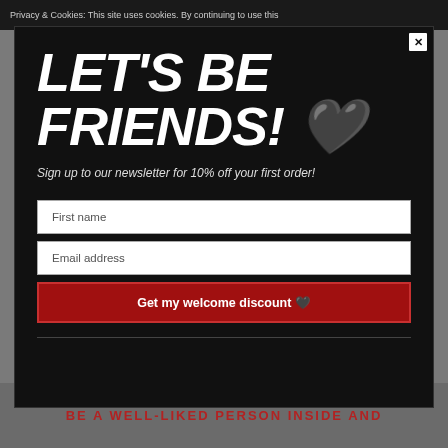Privacy & Cookies: This site uses cookies. By continuing to use this
LET'S BE FRIENDS! 🖤
Sign up to our newsletter for 10% off your first order!
First name
Email address
Get my welcome discount 🖤
BE A WELL-LIKED PERSON INSIDE AND